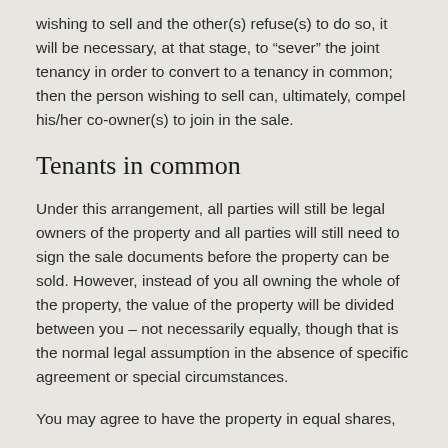wishing to sell and the other(s) refuse(s) to do so, it will be necessary, at that stage, to “sever” the joint tenancy in order to convert to a tenancy in common; then the person wishing to sell can, ultimately, compel his/her co-owner(s) to join in the sale.
Tenants in common
Under this arrangement, all parties will still be legal owners of the property and all parties will still need to sign the sale documents before the property can be sold. However, instead of you all owning the whole of the property, the value of the property will be divided between you – not necessarily equally, though that is the normal legal assumption in the absence of specific agreement or special circumstances.
You may agree to have the property in equal shares,